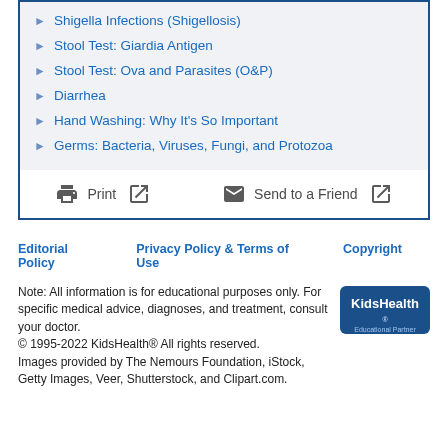Shigella Infections (Shigellosis)
Stool Test: Giardia Antigen
Stool Test: Ova and Parasites (O&P)
Diarrhea
Hand Washing: Why It's So Important
Germs: Bacteria, Viruses, Fungi, and Protozoa
Print   Send to a Friend
Editorial Policy   Privacy Policy & Terms of Use   Copyright
Note: All information is for educational purposes only. For specific medical advice, diagnoses, and treatment, consult your doctor.
© 1995-2022 KidsHealth® All rights reserved.
Images provided by The Nemours Foundation, iStock, Getty Images, Veer, Shutterstock, and Clipart.com.
[Figure (logo): KidsHealth Educational Partner logo]